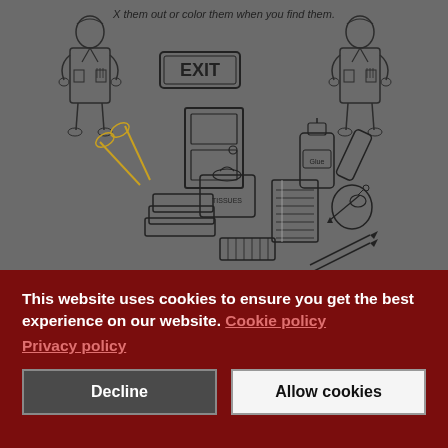[Figure (illustration): A school scavenger hunt activity sheet showing classroom objects to find: scissors, exit sign, door, glue bottle, glue stick, tissue box, stacked books/papers, notepad, pencil sharpener, pencils, crayons. Two illustrated figures of students/teachers in lab coats stand on the left and right sides. Text at top reads 'X them out or color them when you find them.']
This website uses cookies to ensure you get the best experience on our website. Cookie policy
Privacy policy
Decline
Allow cookies